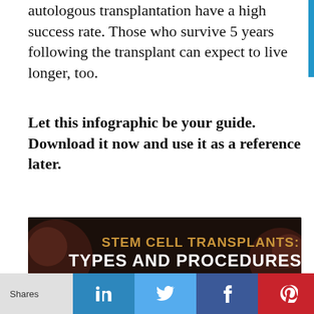autologous transplantation have a high success rate. Those who survive 5 years following the transplant can expect to live longer, too.
Let this infographic be your guide. Download it now and use it as a reference later.
[Figure (infographic): Infographic titled 'Stem Cell Transplants: Types and Procedures' on a dark background with circular cell imagery. Shows 'Types of Stem Cell Transplants' with two categories: AUTOLOGOUS and ALLOGENEIC.]
Shares | LinkedIn | Twitter | Facebook | Pinterest | Email